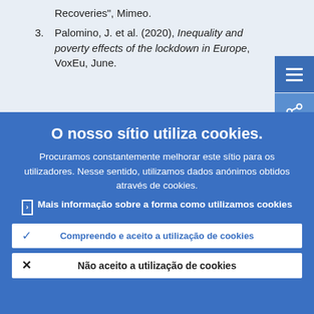Recoveries", Mimeo.
3. Palomino, J. et al. (2020), Inequality and poverty effects of the lockdown in Europe, VoxEu, June.
4. "Employment at risk" is defined as...
O nosso sítio utiliza cookies.
Procuramos constantemente melhorar este sítio para os utilizadores. Nesse sentido, utilizamos dados anónimos obtidos através de cookies.
Mais informação sobre a forma como utilizamos cookies
Compreendo e aceito a utilização de cookies
Não aceito a utilização de cookies